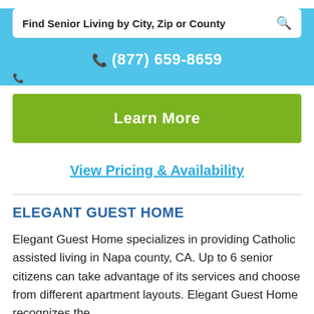Find Senior Living by City, Zip or County
(877) 659-8659
Learn More
View Pricing & Availability
ELEGANT GUEST HOME
Elegant Guest Home specializes in providing Catholic assisted living in Napa county, CA. Up to 6 senior citizens can take advantage of its services and choose from different apartment layouts. Elegant Guest Home recognizes the